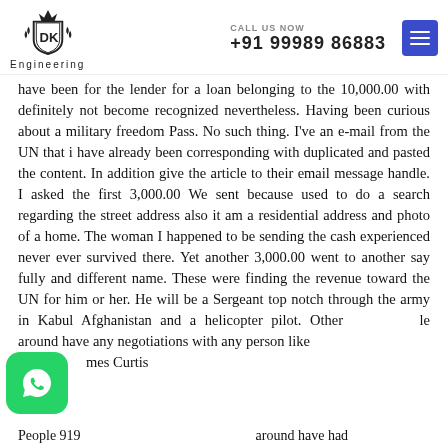DK Engineering | CALL US NOW +91 99989 86883
have been for the lender for a loan belonging to the 10,000.00 with definitely not become recognized nevertheless. Having been curious about a military freedom Pass. No such thing. I've an e-mail from the UN that i have already been corresponding with duplicated and pasted the content. In addition give the article to their email message handle. I asked the first 3,000.00 We sent because used to do a search regarding the street address also it am a residential address and photo of a home. The woman I happened to be sending the cash experienced never ever survived there. Yet another 3,000.00 went to another say fully and different name. These were finding the revenue toward the UN for him or her. He will be a Sergeant top notch through the army in Kabul Afghanistan and a helicopter pilot. Other people around have any negotiations with any person like James Curtis
People 919 ...